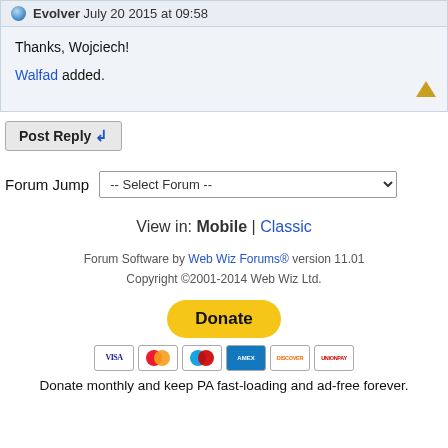Evolver July 20 2015 at 09:58
Thanks, Wojciech!

Walfad added.
Post Reply
Forum Jump  -- Select Forum --
View in: Mobile | Classic
Forum Software by Web Wiz Forums® version 11.01
Copyright ©2001-2014 Web Wiz Ltd.
[Figure (other): PayPal Donate button with payment card icons (VISA, Mastercard, Maestro, Amex, Discover, UnionPay)]
Donate monthly and keep PA fast-loading and ad-free forever.